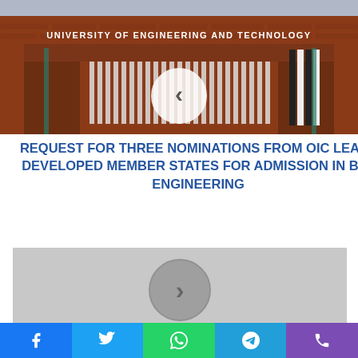[Figure (photo): University of Engineering and Technology building entrance gate, brick facade with white lettering. A circular arrow button (left chevron) overlay is visible in the center.]
REQUEST FOR THREE NOMINATIONS FROM OIC LEAST DEVELOPED MEMBER STATES FOR ADMISSION IN BSc ENGINEERING
[Figure (photo): Light gray placeholder image with a circular right-chevron arrow button in the center.]